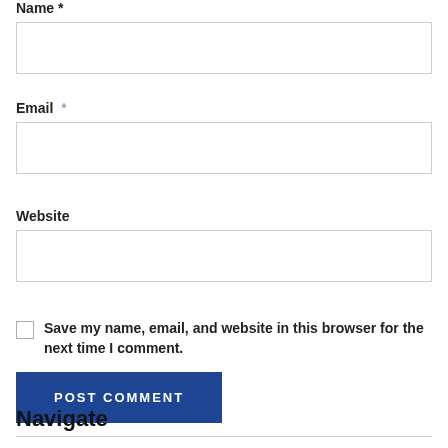Name *
Email *
Website
Save my name, email, and website in this browser for the next time I comment.
POST COMMENT
Navigate